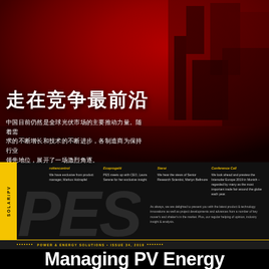[Figure (photo): Industrial/solar manufacturing equipment photographed under dramatic red lighting, showing machinery silhouetted against a red background]
走在竞争最前沿
中国目前仍然是全球光伏市场的主要推动力量。随着需求的不断增长和技术的不断进步，各制造商为保持行业领先地位，展开了一场激烈角逐。
rottencontrol
We have exclusive from product manager, Markus Holzapfel
Ecoprogetti
PES meets up with CEO, Lara Serene for her exclusive insight
Sierai
We hear the views of Senior Research Scientist, Martyn Bellmore
Conference Call
We look ahead and preview the Intersolar Europe 2019 in Munich – regarded by many as the most important trade fair around the globe each year.
[Figure (logo): PES large italic letters logo in dark grey]
As always, we are delighted to present you with the latest product & technology innovations as well as project developments and advances from a number of key mover's and shaker's in the market. Plus, our regular helping of opinion, industry insight & analysis.
POWER & ENERGY SOLUTIONS • ISSUE 34, 2019
Managing PV Energy